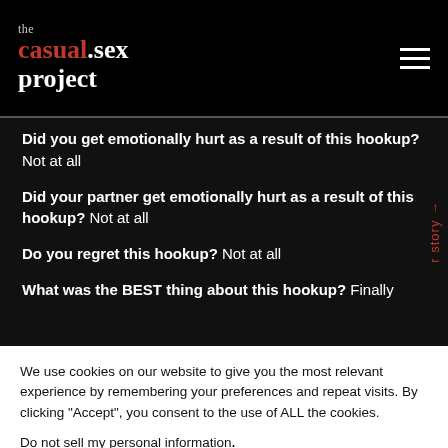the casual.sex project
Did you get emotionally hurt as a result of this hookup? Not at all
Did your partner get emotionally hurt as a result of this hookup? Not at all
Do you regret this hookup? Not at all
What was the BEST thing about this hookup? Finally
We use cookies on our website to give you the most relevant experience by remembering your preferences and repeat visits. By clicking “Accept”, you consent to the use of ALL the cookies.
Do not sell my personal information.